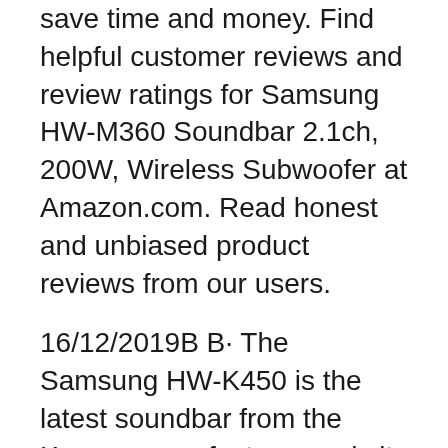save time and money. Find helpful customer reviews and review ratings for Samsung HW-M360 Soundbar 2.1ch, 200W, Wireless Subwoofer at Amazon.com. Read honest and unbiased product reviews from our users.
16/12/2019В В· The Samsung HW-K450 is the latest soundbar from the Korean manufacturer and sits below the HW-K550 in their new line-up for 2016. These soundbars drop the curved design and hefty price tag found on many of Samsung's models last year, going for вЂ¦ Vea reseГ±as y calificaciones de reseГ±as que otros clientes han escrito de Samsung HW-